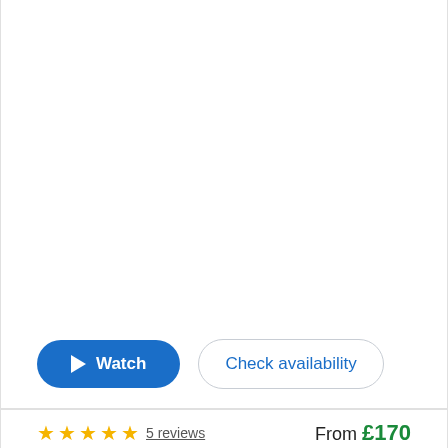[Figure (screenshot): Blank white area representing a video thumbnail placeholder]
Watch | Check availability
★★★★★ 5 reviews   From £170
Alistair Mackay
View profile
Bagpiper  📍 Northolt
Highland piper with 30 years of professional piping experience playing as a military and